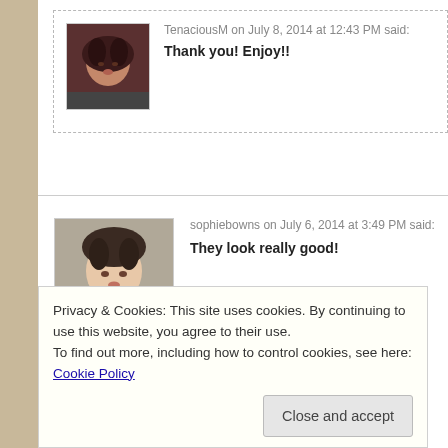TenaciousM on July 8, 2014 at 12:43 PM said:
Thank you! Enjoy!!
sophiebowns on July 6, 2014 at 3:49 PM said:
They look really good!
Privacy & Cookies: This site uses cookies. By continuing to use this website, you agree to their use.
To find out more, including how to control cookies, see here: Cookie Policy
Close and accept